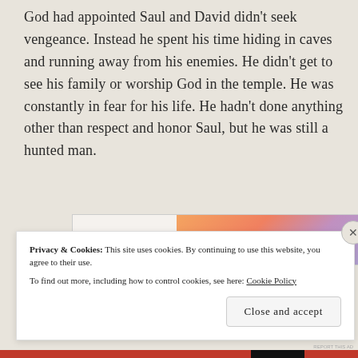God had appointed Saul and David didn't seek vengeance. Instead he spent his time hiding in caves and running away from his enemies. He didn't get to see his family or worship God in the temple. He was constantly in fear for his life. He hadn't done anything other than respect and honor Saul, but he was still a hunted man.
[Figure (other): Advertisement banner with 'w VIP' logo on left and gradient orange-to-purple background on right with a dark 'Learn more' button]
Privacy & Cookies: This site uses cookies. By continuing to use this website, you agree to their use.
To find out more, including how to control cookies, see here: Cookie Policy
Close and accept